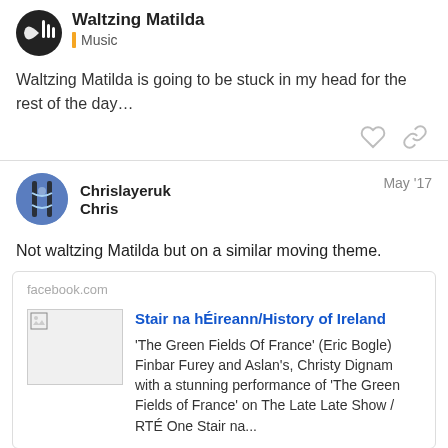Waltzing Matilda
Music
Waltzing Matilda is going to be stuck in my head for the rest of the day…
Chrislayeruk
Chris
May '17
Not waltzing Matilda but on a similar moving theme.
facebook.com
Stair na hÉireann/History of Ireland
'The Green Fields Of France' (Eric Bogle) Finbar Furey and Aslan's, Christy Dignam with a stunning performance of 'The Green Fields of France' on The Late Late Show / RTÉ One Stair na...